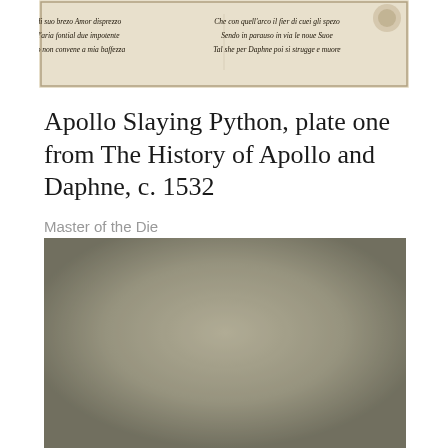[Figure (illustration): A decorative engraving text banner with Italian verse in two columns, featuring ornate script on aged paper. Left column: 'Er alor di suo brezo Amor disprezzo / Che nell'aria fontial due impotente / Quell'arco non convene a mia baffezza'. Right column: 'Che con quell'arco il fier di cuei gli spezo / Sendo in parauso in via le noue Suoe / Tal she per Daphne poi si strugge e muore']
Apollo Slaying Python, plate one from The History of Apollo and Daphne, c. 1532
Master of the Die
[Figure (photo): A large rectangular photograph or reproduction with a muted, grayish-taupe background suggesting an artwork or engraving detail, slightly lighter in the center fading to darker tones at the edges.]